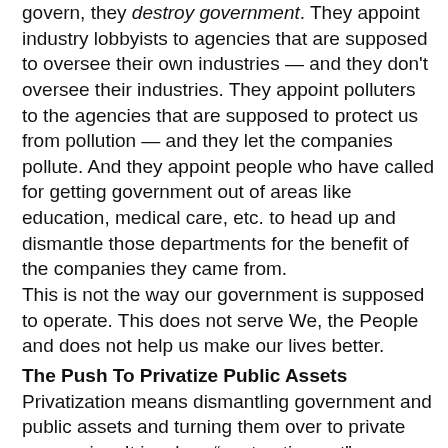govern, they destroy government. They appoint industry lobbyists to agencies that are supposed to oversee their own industries — and they don't oversee their industries. They appoint polluters to the agencies that are supposed to protect us from pollution — and they let the companies pollute. And they appoint people who have called for getting government out of areas like education, medical care, etc. to head up and dismantle those departments for the benefit of the companies they came from.
This is not the way our government is supposed to operate. This does not serve We, the People and does not help us make our lives better.
The Push To Privatize Public Assets
Privatization means dismantling government and public assets and turning them over to private companies. It involves “contracting out” or even ending the services that were performed by We, the People (government) to make our lives better. Instead these services are operated for profit, which the citizens (and certainly not the employees) share none of the gains.
To be clear about this: contracting out government services “saves money” by laying off people who have good wages